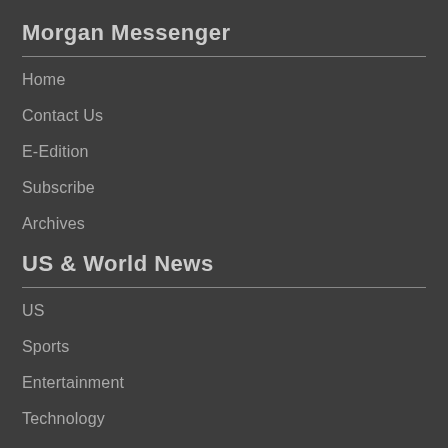Morgan Messenger
Home
Contact Us
E-Edition
Subscribe
Archives
US & World News
US
Sports
Entertainment
Technology
Politics